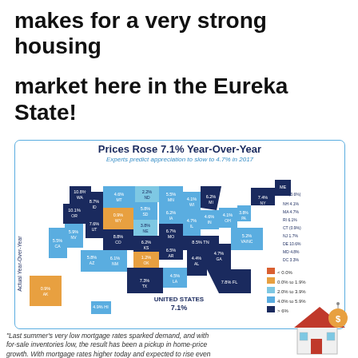makes for a very strong housing market here in the Eureka State!
[Figure (map): US map showing home price appreciation by state, color-coded by range: <0.0% (red/orange), 0.0-1.9% (gold), 2.0-3.9% (light blue), 4.0-5.9% (medium blue), >6% (dark navy). United States overall: 7.1%.]
"Last summer's very low mortgage rates sparked demand, and with for-sale inventories low, the result has been a pickup in home-price growth. With mortgage rates higher today and expected to rise even further in 2017, our national